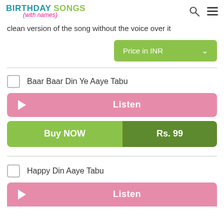BIRTHDAY SONGS (with names)
clean version of the song without the voice over it
Price in INR
Baar Baar Din Ye Aaye Tabu
Listen
Buy NOW  Rs. 99
Happy Din Aaye Tabu
Listen